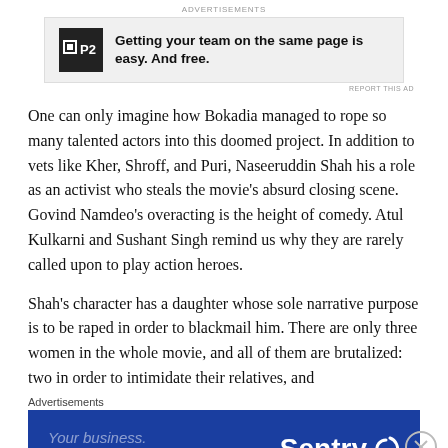ADVERTISEMENTS
[Figure (infographic): P2 advertisement banner: logo with H icon and P2 text, bold text 'Getting your team on the same page is easy. And free.']
One can only imagine how Bokadia managed to rope so many talented actors into this doomed project. In addition to vets like Kher, Shroff, and Puri, Naseeruddin Shah his a role as an activist who steals the movie’s absurd closing scene. Govind Namdeo’s overacting is the height of comedy. Atul Kulkarni and Sushant Singh remind us why they are rarely called upon to play action heroes.
Shah’s character has a daughter whose sole narrative purpose is to be raped in order to blackmail him. There are only three women in the whole movie, and all of them are brutalized: two in order to intimidate their relatives, and
Advertisements
[Figure (infographic): Sentry advertisement banner with dark blue background. Left side: 'Your business. Your vision.' in italic muted text. Right side: 'Sentry' logo in white bold text with quotation mark icon.]